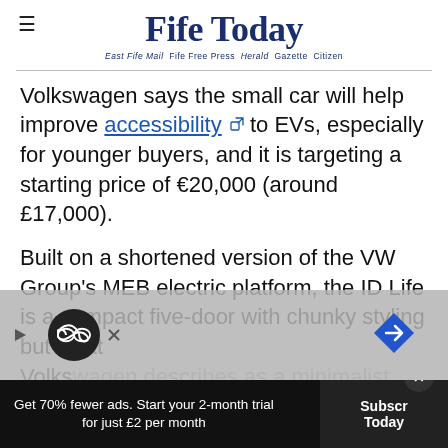Fife Today — East Fife Mail  Fife Free Press  Herald  Gazette  Citizen
Volkswagen says the small car will help improve accessibility to EVs, especially for younger buyers, and it is targeting a starting price of €20,000 (around £17,000).
Built on a shortened version of the VW Group's MEB electric platform, the ID Life is a compact five-door with chunky styling but what Volkswagen describes as a minimalist interior with
[Figure (other): Advertisement banner with circular logo and navigation arrow icon, overlaying the article text]
Get 70% fewer ads. Start your 2-month trial for just £2 per month
Subscribe Today